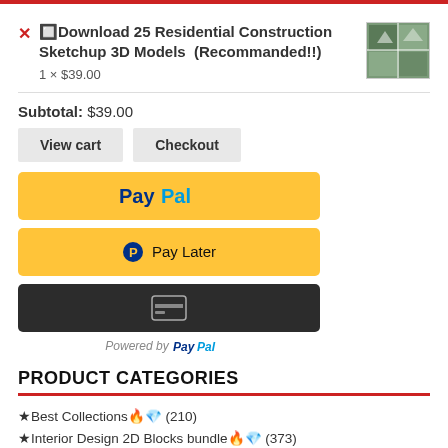✗ 🔲Download 25 Residential Construction Sketchup 3D Models (Recommanded!!) 1 × $39.00
Subtotal: $39.00
[Figure (screenshot): View cart and Checkout buttons, PayPal button, Pay Later button, Debit/Credit card button, Powered by PayPal]
PRODUCT CATEGORIES
★Best Collections🔥💎 (210)
★Interior Design 2D Blocks bundle🔥💎 (373)
★Architectural decoration...💎 (333)